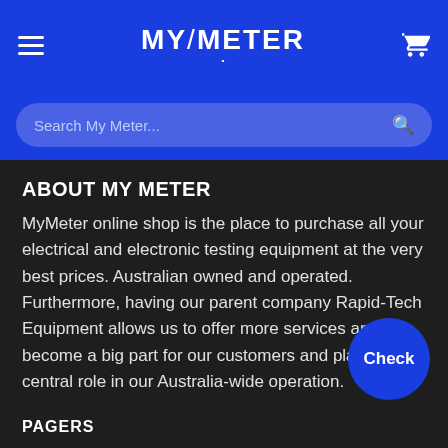MY/METER
Search My Meter...
ABOUT MY METER
MyMeter online shop is the place to purchase all your electrical and electronic testing equipment at the very best prices. Australian owned and operated. Furthermore, having our parent company Rapid-Tech Equipment allows us to offer more services and become a big part for our customers and play a central role in our Australia-wide operation.
PAGERS